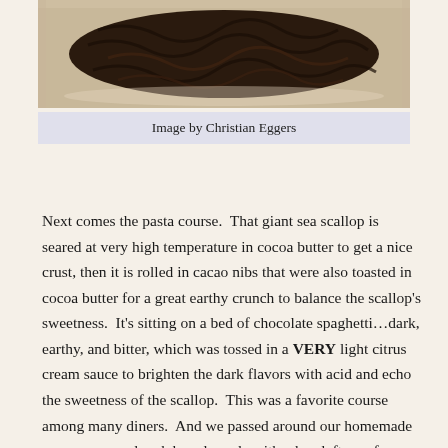[Figure (photo): Dark chocolate pasta/noodles on a plate, photographed from above]
Image by Christian Eggers
Next comes the pasta course.  That giant sea scallop is seared at very high temperature in cocoa butter to get a nice crust, then it is rolled in cacao nibs that were also toasted in cocoa butter for a great earthy crunch to balance the scallop’s sweetness.  It’s sitting on a bed of chocolate spaghetti…dark, earthy, and bitter, which was tossed in a VERY light citrus cream sauce to brighten the dark flavors with acid and echo the sweetness of the scallop.  This was a favorite course among many diners.  And we passed around our homemade rosemary sourdough bread, made with whey leftover from the cheese we’re making for a future FRANK.  (Rosemary and chocolate is another fabulous pairing.)  Our diners spread homemade sweet cream butter onto the bread, and many of them tell us